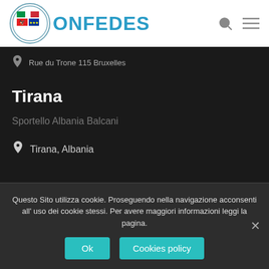[Figure (logo): CONFEDES logo with Italian, Albanian and EU flags in a circular emblem next to the text CONFEDES in teal]
Rue du Trone 115 Bruxelles
Tirana
Sportello Albania Balcani
Tirana, Albania
Questo Sito utilizza cookie. Proseguendo nella navigazione acconsenti all' uso dei cookie stessi. Per avere maggiori informazioni leggi la pagina.